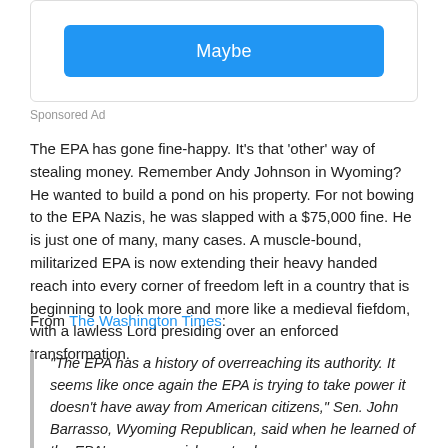[Figure (screenshot): Blue 'Maybe' button inside a rounded white card, resembling a social media or app dialog prompt.]
Sponsored Ad
The EPA has gone fine-happy. It’s that ‘other’ way of stealing money. Remember Andy Johnson in Wyoming? He wanted to build a pond on his property. For not bowing to the EPA Nazis, he was slapped with a $75,000 fine. He is just one of many, many cases. A muscle-bound, militarized EPA is now extending their heavy handed reach into every corner of freedom left in a country that is beginning to look more and more like a medieval fiefdom, with a lawless Lord presiding over an enforced transformation.
From The Washington Times:
“The EPA has a history of overreaching its authority. It seems like once again the EPA is trying to take power it doesn’t have away from American citizens,” Sen. John Barrasso, Wyoming Republican, said when he learned of the EPA’s wage garnishment scheme.